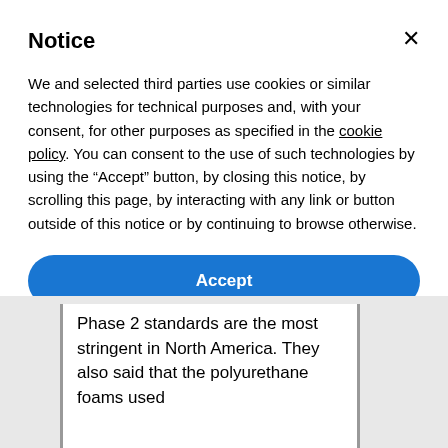Notice
We and selected third parties use cookies or similar technologies for technical purposes and, with your consent, for other purposes as specified in the cookie policy. You can consent to the use of such technologies by using the “Accept” button, by closing this notice, by scrolling this page, by interacting with any link or button outside of this notice or by continuing to browse otherwise.
Accept
Learn more and customize
Phase 2 standards are the most stringent in North America. They also said that the polyurethane foams used